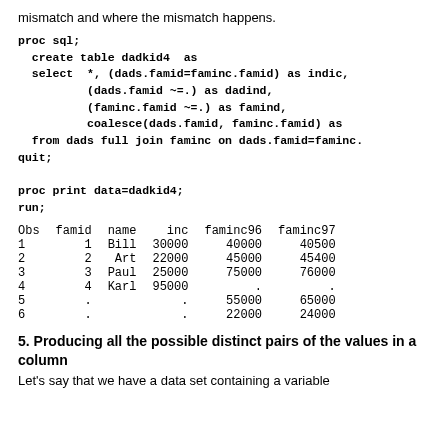mismatch and where the mismatch happens.
| Obs | famid | name | inc | faminc96 | faminc97 |
| --- | --- | --- | --- | --- | --- |
| 1 | 1 | Bill | 30000 | 40000 | 40500 |
| 2 | 2 | Art | 22000 | 45000 | 45400 |
| 3 | 3 | Paul | 25000 | 75000 | 76000 |
| 4 | 4 | Karl | 95000 | . | . |
| 5 | . |  | . | 55000 | 65000 |
| 6 | . |  | . | 22000 | 24000 |
5. Producing all the possible distinct pairs of the values in a column
Let's say that we have a data set containing a variable